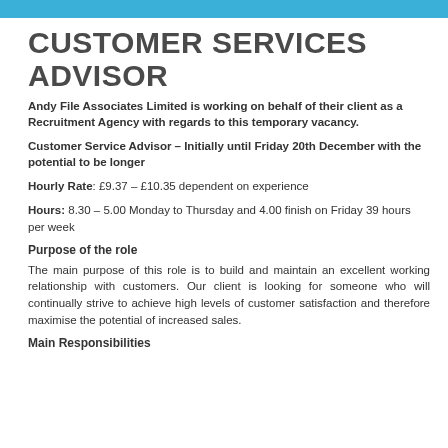CUSTOMER SERVICES ADVISOR
Andy File Associates Limited is working on behalf of their client as a Recruitment Agency with regards to this temporary vacancy.
Customer Service Advisor – Initially until Friday 20th December with the potential to be longer
Hourly Rate: £9.37 – £10.35 dependent on experience
Hours: 8.30 – 5.00 Monday to Thursday and 4.00 finish on Friday 39 hours per week
Purpose of the role
The main purpose of this role is to build and maintain an excellent working relationship with customers.  Our client is looking for someone who will continually strive to achieve high levels of customer satisfaction and therefore maximise the potential of increased sales.
Main Responsibilities